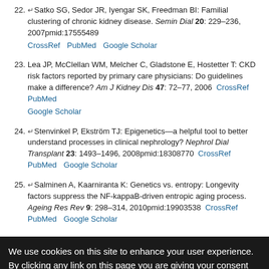22. ↵Satko SG, Sedor JR, Iyengar SK, Freedman BI: Familial clustering of chronic kidney disease. Semin Dial 20: 229–236, 2007pmid:17555489 CrossRef PubMed Google Scholar
23. Lea JP, McClellan WM, Melcher C, Gladstone E, Hostetter T: CKD risk factors reported by primary care physicians: Do guidelines make a difference? Am J Kidney Dis 47: 72–77, 2006 CrossRef PubMed Google Scholar
24. ↵Stenvinkel P, Ekström TJ: Epigenetics—a helpful tool to better understand processes in clinical nephrology? Nephrol Dial Transplant 23: 1493–1496, 2008pmid:18308770 CrossRef PubMed Google Scholar
25. ↵Salminen A, Kaarniranta K: Genetics vs. entropy: Longevity factors suppress the NF-kappaB-driven entropic aging process. Ageing Res Rev 9: 298–314, 2010pmid:19903538 CrossRef PubMed Google Scholar
We use cookies on this site to enhance your user experience. By clicking any link on this page you are giving your consent for us to set cookies.
[Figure (infographic): Advertisement banner: Do you have patients with IgAN? Consider the ALIGN Study. Learn more. ALIGN logo with kidney illustration.]